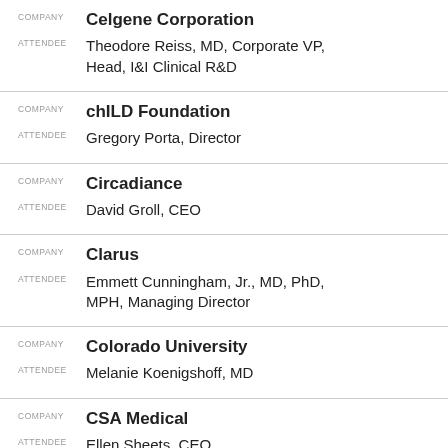COMPANY: Celgene Corporation
ATTENDEE: Theodore Reiss, MD, Corporate VP, Head, I&I Clinical R&D
COMPANY: chILD Foundation
ATTENDEE: Gregory Porta, Director
COMPANY: Circadiance
ATTENDEE: David Groll, CEO
COMPANY: Clarus
ATTENDEE: Emmett Cunningham, Jr., MD, PhD, MPH, Managing Director
COMPANY: Colorado University
ATTENDEE: Melanie Koenigshoff, MD
COMPANY: CSA Medical
ATTENDEE: Ellen Sheets, CEO